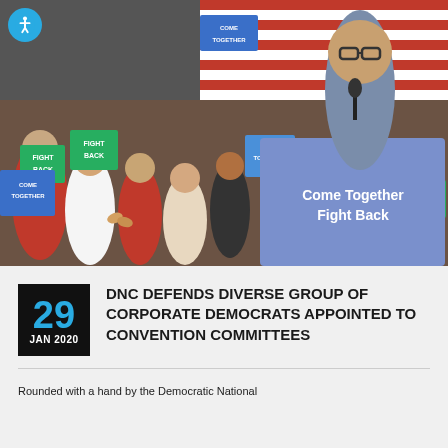[Figure (photo): A man speaking at a podium with 'Come Together Fight Back' sign, surrounded by crowd holding green 'Fight Back' and blue 'Come Together' signs, with American flag in background]
DNC DEFENDS DIVERSE GROUP OF CORPORATE DEMOCRATS APPOINTED TO CONVENTION COMMITTEES
Rounded with a hand by the Democratic National...